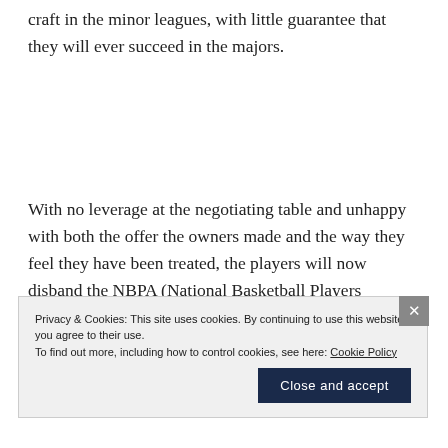craft in the minor leagues, with little guarantee that they will ever succeed in the majors.
With no leverage at the negotiating table and unhappy with both the offer the owners made and the way they feel they have been treated, the players will now disband the NBPA (National Basketball Players Association) and pursue lawsuits
Privacy & Cookies: This site uses cookies. By continuing to use this website, you agree to their use.
To find out more, including how to control cookies, see here: Cookie Policy
Close and accept